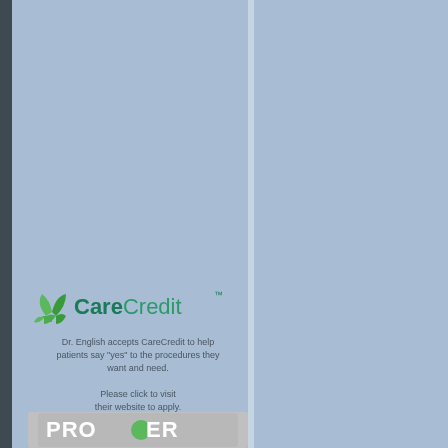[Figure (logo): CareCredit logo with green leaf/sail icon and CareCredit text in teal/green]
Dr. English accepts CareCredit to help patients say "yes" to the procedures they want and need.

Please click to visit their website to apply.
[Figure (logo): Procare logo partially visible at bottom of left panel]